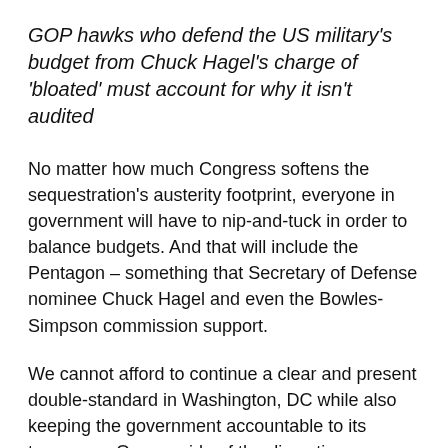GOP hawks who defend the US military's budget from Chuck Hagel's charge of 'bloated' must account for why it isn't audited
No matter how much Congress softens the sequestration's austerity footprint, everyone in government will have to nip-and-tuck in order to balance budgets. And that will include the Pentagon – something that Secretary of Defense nominee Chuck Hagel and even the Bowles-Simpson commission support.
We cannot afford to continue a clear and present double-standard in Washington, DC while also keeping the government accountable to its taxpayers. On one side of the discretionary spending spectrum, Republicans are absolutely religious about each government dollar doled